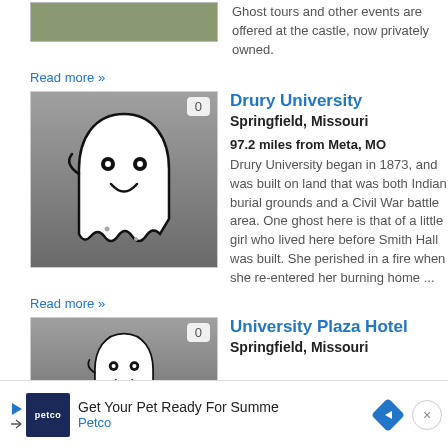[Figure (photo): Partial top image of a castle/nature scene, cropped]
Ghost tours and other events are offered at the castle, now privately owned.
Read more »
[Figure (illustration): Ghost illustration on gray gradient background with badge showing 0]
Drury University
Springfield, Missouri
97.2 miles from Meta, MO
Drury University began in 1873, and was built on land that was both Indian burial grounds and a Civil War battle area. One ghost here is that of a little girl who lived here before Smith Hall was built. She perished in a fire when she re-entered her burning home ...
Read more »
[Figure (illustration): Ghost illustration on gray gradient background with badge showing 0]
University Plaza Hotel
Springfield, Missouri
[Figure (screenshot): Petco advertisement banner: Get Your Pet Ready For Summe / Petco]